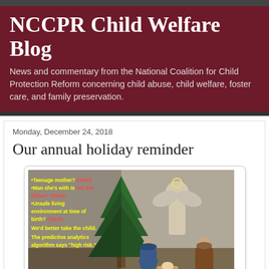NCCPR Child Welfare Blog
News and commentary from the National Coalition for Child Protection Reform concerning child abuse, child welfare, foster care, and family preservation.
Monday, December 24, 2018
Our annual holiday reminder
[Figure (photo): A nativity scene showing figurines of Mary, Joseph, and baby Jesus with a Christmas tree and angel, overlaid with yellow text: '•Teenage mother? Check. •Man she's with is not the father? Check. •Unsafe living environment at time of birth? Check. We'd better take the child. The predictive analytics algorithm says "high risk."' with www.nccpr.org at bottom left.]